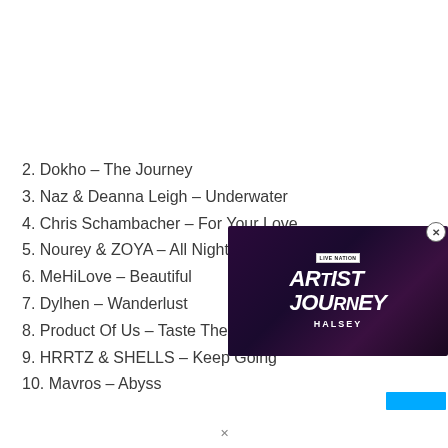2. Dokho – The Journey
3. Naz & Deanna Leigh – Underwater
4. Chris Schambacher – For Your Love
5. Nourey & ZOYA – All Night
6. MeHiLove – Beautiful
7. Dylhen – Wanderlust
8. Product Of Us – Taste The Wa[y]
9. HRRTZ & SHELLS – Keep Going
10. Mavros – Abyss
[Figure (screenshot): Live Nation Artist Journey advertisement featuring Halsey, dark purple/pink bokeh background with bold white italic text reading ARTIST JOURNEY and HALSEY below, Live Nation badge at top.]